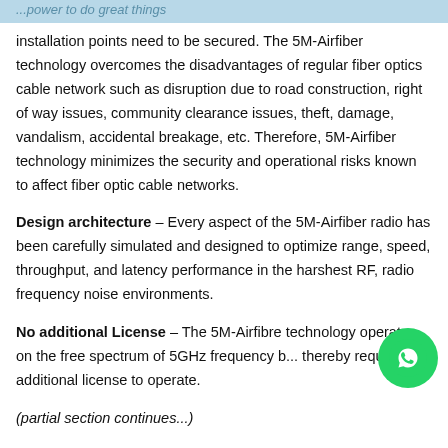...power to do great things
installation points need to be secured. The 5M-Airfiber technology overcomes the disadvantages of regular fiber optics cable network such as disruption due to road construction, right of way issues, community clearance issues, theft, damage, vandalism, accidental breakage, etc. Therefore, 5M-Airfiber technology minimizes the security and operational risks known to affect fiber optic cable networks.
Design architecture – Every aspect of the 5M-Airfiber radio has been carefully simulated and designed to optimize range, speed, throughput, and latency performance in the harshest RF, radio frequency noise environments.
No additional License – The 5M-Airfibre technology operates on the free spectrum of 5GHz frequency b... thereby requiring no additional license to operate.
(partial next section visible at bottom)